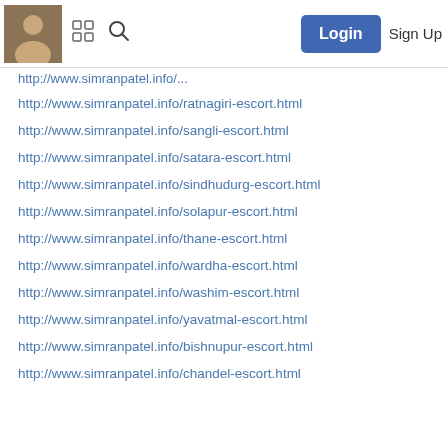Login  Sign Up
http://www.simranpatel.info/ratnagiri-escort.html
http://www.simranpatel.info/sangli-escort.html
http://www.simranpatel.info/satara-escort.html
http://www.simranpatel.info/sindhudurg-escort.html
http://www.simranpatel.info/solapur-escort.html
http://www.simranpatel.info/thane-escort.html
http://www.simranpatel.info/wardha-escort.html
http://www.simranpatel.info/washim-escort.html
http://www.simranpatel.info/yavatmal-escort.html
http://www.simranpatel.info/bishnupur-escort.html
http://www.simranpatel.info/chandel-escort.html